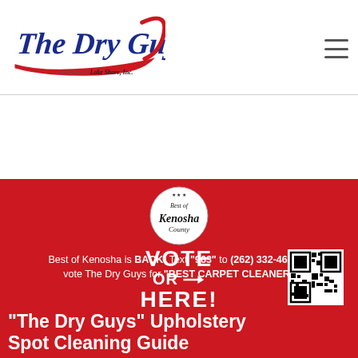[Figure (logo): The Dry Guys logo - a division of Lake Shore, Inc. with stylized italic blue text and red swoosh underline]
[Figure (logo): Best of Kenosha County circular badge/seal]
Best of Kenosha is BACK! Text "963" to (262) 332-4625 to vote The Dry Guys for "BEST CARPET CLEANER"
[Figure (other): VOTE OR HERE! call to action overlay with arrow and QR code]
"The Dry Guys" Upholstery Spot Cleaning Guide